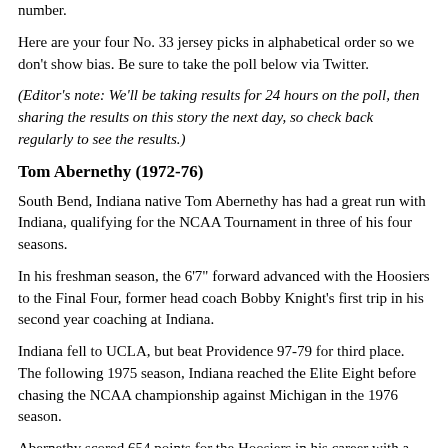number.
Here are your four No. 33 jersey picks in alphabetical order so we don't show bias. Be sure to take the poll below via Twitter.
(Editor's note: We'll be taking results for 24 hours on the poll, then sharing the results on this story the next day, so check back regularly to see the results.)
Tom Abernethy (1972-76)
South Bend, Indiana native Tom Abernethy has had a great run with Indiana, qualifying for the NCAA Tournament in three of his four seasons.
In his freshman season, the 6'7" forward advanced with the Hoosiers to the Final Four, former head coach Bobby Knight's first trip in his second year coaching at Indiana.
Indiana fell to UCLA, but beat Providence 97-79 for third place. The following 1975 season, Indiana reached the Elite Eight before chasing the NCAA championship against Michigan in the 1976 season.
Abernethy scored 654 points for the Hoosiers in his career with a 52.2 field goal percentage and 68.9 from the free throw percentage.